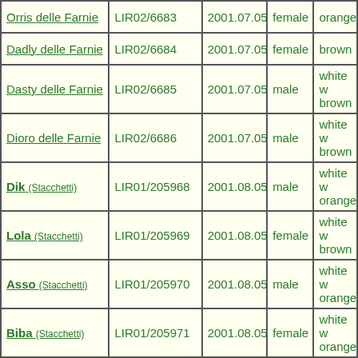| Name | ID | Date | Sex | Color |
| --- | --- | --- | --- | --- |
| Orris delle Farnie | LIR02/6683 | 2001.07.05 | female | orange |
| Dadly delle Farnie | LIR02/6684 | 2001.07.05 | female | brown |
| Dasty delle Farnie | LIR02/6685 | 2001.07.05 | male | white w brown |
| Dioro delle Farnie | LIR02/6686 | 2001.07.05 | male | white w brown |
| Dik (Stacchetti) | LIR01/205968 | 2001.08.05 | male | white w orange |
| Lola (Stacchetti) | LIR01/205969 | 2001.08.05 | female | white w brown |
| Asso (Stacchetti) | LIR01/205970 | 2001.08.05 | male | white w orange |
| Biba (Stacchetti) | LIR01/205971 | 2001.08.05 | female | white w orange |
| Bull (Stacchetti) | LIR01/205972 | 2001.08.05 | male | white w brown |
| Duna (Stacchetti) | LIR01/205973 | 2001.08.05 | female | white w orange |
| Augusto (Donegaglia) | LIR02/6345 | 2001.08.28 | male | white |
| Freedy (Donegaglia) | LIR02/6347 | 2001.08.28 | male | white |